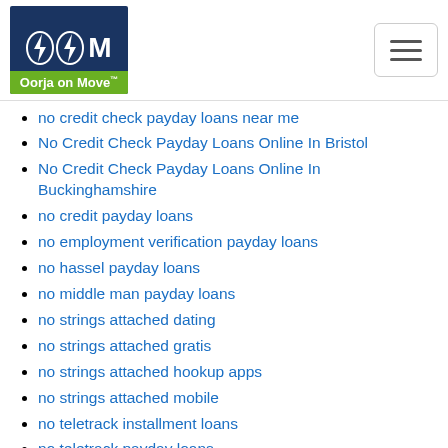Oorja on Move
no credit check payday loans near me
No Credit Check Payday Loans Online In Bristol
No Credit Check Payday Loans Online In Buckinghamshire
no credit payday loans
no employment verification payday loans
no hassel payday loans
no middle man payday loans
no strings attached dating
no strings attached gratis
no strings attached hookup apps
no strings attached mobile
no teletrack installment loans
no teletrack payday loans
no teletrack payday loans direct lenders 100 approval
No Third Party Payday Loans